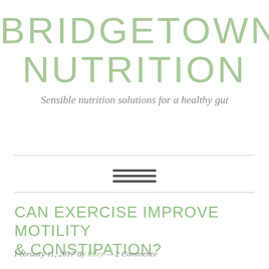BRIDGETOWN NUTRITION
Sensible nutrition solutions for a healthy gut
[Figure (other): Hamburger menu icon — three horizontal dark grey lines centered between two horizontal divider rules]
CAN EXERCISE IMPROVE MOTILITY & CONSTIPATION?
February 11, 2017 By Riley — 2 Comments